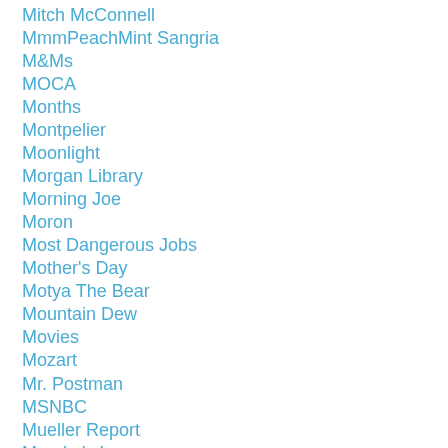Mitch McConnell
MmmPeachMint Sangria
M&Ms
MOCA
Months
Montpelier
Moonlight
Morgan Library
Morning Joe
Moron
Most Dangerous Jobs
Mother's Day
Motya The Bear
Mountain Dew
Movies
Mozart
Mr. Postman
MSNBC
Mueller Report
Murphy's Law
Museum Of Modern Art